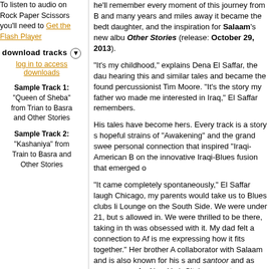To listen to audio on Rock Paper Scissors you'll need to Get the Flash Player
download tracks
log in to access downloads
Sample Track 1:
"Queen of Sheba" from Trian to Basra and Other Stories
Sample Track 2:
"Kashaniya" from Train to Basra and Other Stories
he'll remember every moment of this journey from B... and many years and miles away it became the bedt... daughter, and the inspiration for Salaam's new albu... Other Stories (release: October 29, 2013).
"It's my childhood," explains Dena El Saffar, the dau... hearing this and similar tales and became the found... percussionist Tim Moore. "It's the story my father wo... made me interested in Iraq," El Saffar remembers.
His tales have become hers. Every track is a story s... hopeful strains of "Awakening" and the grand swee... personal connection that inspired "Iraqi-American B... on the innovative Iraqi-Blues fusion that emerged o...
"It came completely spontaneously," El Saffar laugh... Chicago, my parents would take us to Blues clubs li... Lounge on the South Side. We were under 21, but s... allowed in. We were thrilled to be there, taking in th... was obsessed with it. My dad felt a connection to Af... is me expressing how it fits together." Her brother A... collaborator with Salaam and is also known for his s... and santoor and as programmer for New York City's... presents performing arts from around the Middle Ea...
Train to Basra and Other Stories is the album where... its wings and takes flight, one that celebrates the ba... remarkable achievement for any band—and how de... Middle Eastern music to the point where it's become... "Kashaniya," an ode to an idealized Middle East, E... on viola and violin, brings in sweeping strings to po...